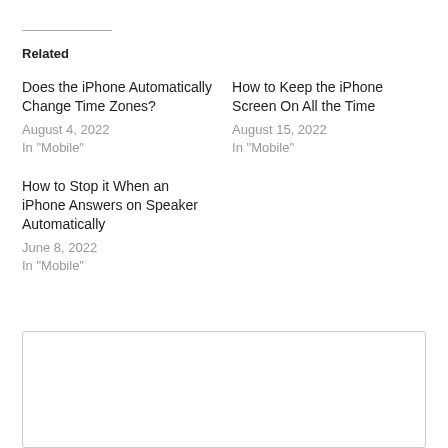Related
Does the iPhone Automatically Change Time Zones?
August 4, 2022
In "Mobile"
How to Keep the iPhone Screen On All the Time
August 15, 2022
In "Mobile"
How to Stop it When an iPhone Answers on Speaker Automatically
June 8, 2022
In "Mobile"
[Figure (other): Empty comment/input box]